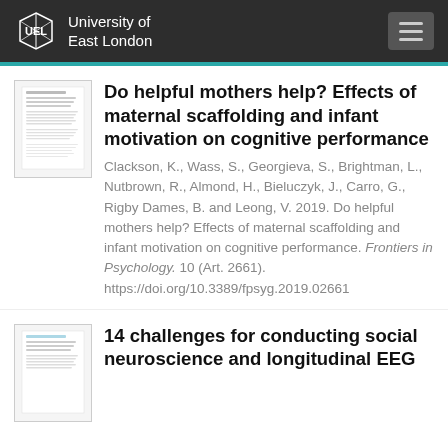University of East London
Do helpful mothers help? Effects of maternal scaffolding and infant motivation on cognitive performance
Clackson, K., Wass, S., Georgieva, S., Brightman, L., Nutbrown, R., Almond, H., Bieluczyk, J., Carro, G., Rigby Dames, B. and Leong, V. 2019. Do helpful mothers help? Effects of maternal scaffolding and infant motivation on cognitive performance. Frontiers in Psychology. 10 (Art. 2661). https://doi.org/10.3389/fpsyg.2019.02661
14 challenges for conducting social neuroscience and longitudinal EEG research with infants